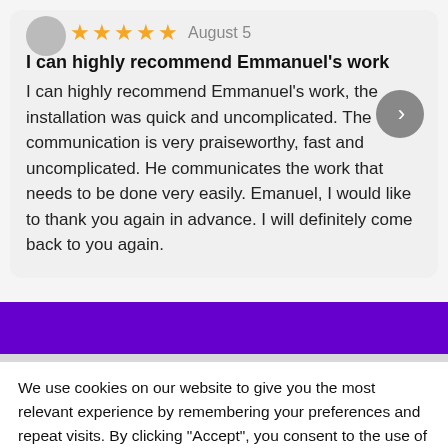[Figure (other): User review card with 5-star rating dated August 5, avatar placeholder, next arrow button, review title and body text]
I can highly recommend Emmanuel's work I can highly recommend Emmanuel's work, the installation was quick and uncomplicated. The communication is very praiseworthy, fast and uncomplicated. He communicates the work that needs to be done very easily. Emanuel, I would like to thank you again in advance. I will definitely come back to you again.
We use cookies on our website to give you the most relevant experience by remembering your preferences and repeat visits. By clicking “Accept”, you consent to the use of ALL the cookies.
Cookie settings
ACCEPT